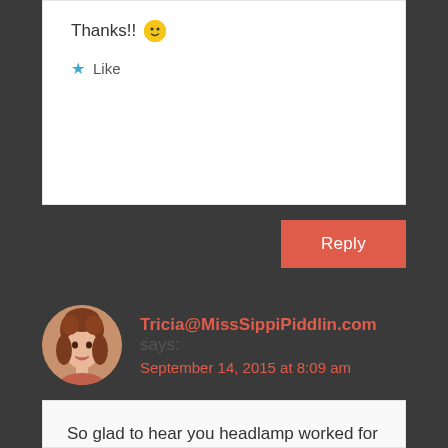Thanks!! 🙂
Like
Reply
Tricia@MissSippiPiddlin.com says: September 14, 2015 at 8:09 am
So glad to hear you headlamp worked for you and it wasn't too heavy! I'm going to have to have one very soon! Wow a half plus almost 7! Impressive to say the least! I have a few half's I am entering along with my longer training runs too. I hope mine turn out as well as yours. I know after a half I'm about spent! Thanks for